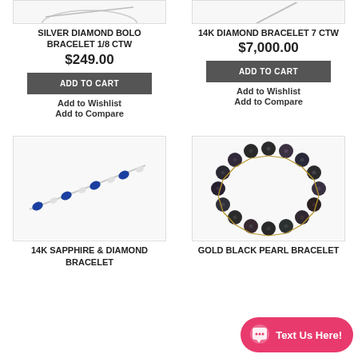[Figure (photo): Partial view of silver diamond bolo bracelet product image (top cropped)]
[Figure (photo): Partial view of 14K diamond bracelet 7 CTW product image (top cropped)]
SILVER DIAMOND BOLO BRACELET 1/8 CTW
$249.00
ADD TO CART
Add to Wishlist
Add to Compare
14K DIAMOND BRACELET 7 CTW
$7,000.00
ADD TO CART
Add to Wishlist
Add to Compare
[Figure (photo): 14K Sapphire and Diamond Bracelet — diagonal blue sapphire and diamond tennis bracelet on white background]
[Figure (photo): Gold Black Pearl Bracelet — circular bracelet of dark/black pearls with gold accents]
14K SAPPHIRE & DIAMOND BRACELET
GOLD BLACK PEARL BRACELET
Text Us Here!